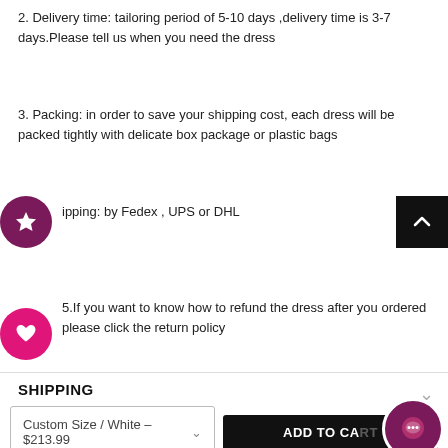2. Delivery time: tailoring period of 5-10 days ,delivery time is 3-7 days.Please tell us when you need the dress
3. Packing: in order to save your shipping cost, each dress will be packed tightly with delicate box package or plastic bags
4. Shipping: by Fedex , UPS or DHL
5.If you want to know how to refund the dress after you ordered please click the return policy
SHIPPING
Custom Size / White – $213.99
ADD TO CART